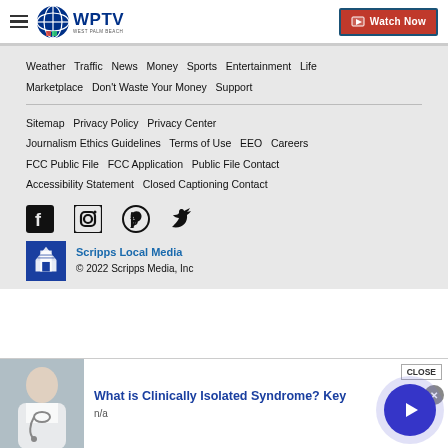WPTV West Palm Beach — Watch Now
Weather  Traffic  News  Money  Sports  Entertainment  Life  Marketplace  Don't Waste Your Money  Support
Sitemap  Privacy Policy  Privacy Center  Journalism Ethics Guidelines  Terms of Use  EEO  Careers  FCC Public File  FCC Application  Public File Contact  Accessibility Statement  Closed Captioning Contact
[Figure (illustration): Social media icons: Facebook, Instagram, Pinterest, Twitter]
Scripps Local Media
© 2022 Scripps Media, Inc
[Figure (infographic): Advertisement: What is Clinically Isolated Syndrome? Key — n/a — with doctor image and play button]